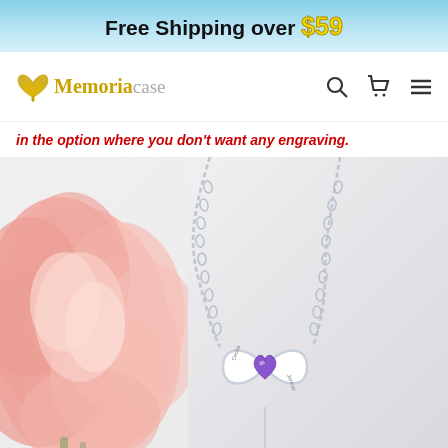Free Shipping over $59
[Figure (logo): Memoriacase logo with butterfly/leaf icon]
in the option where you don't want any engraving.
[Figure (photo): Silver infinity necklace pendant with purple heart gemstone and engraved names, shown with pink peony flower in background]